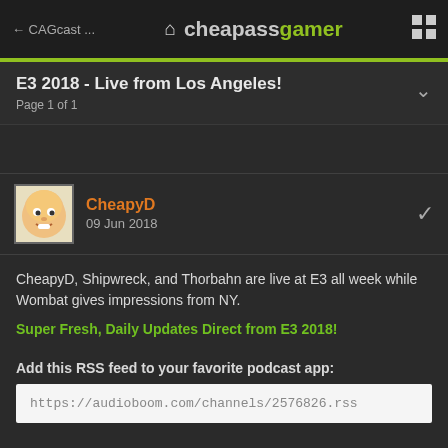← CAGcast ...   🏠 cheapassgamer   ⊞
E3 2018 - Live from Los Angeles!
Page 1 of 1
[Figure (illustration): User avatar for CheapyD - cartoon face icon]
CheapyD
09 Jun 2018
CheapyD, Shipwreck, and Thorbahn are live at E3 all week while Wombat gives impressions from NY.
Super Fresh, Daily Updates Direct from E3 2018!
Add this RSS feed to your favorite podcast app:
https://audioboom.com/channels/2576826.rss